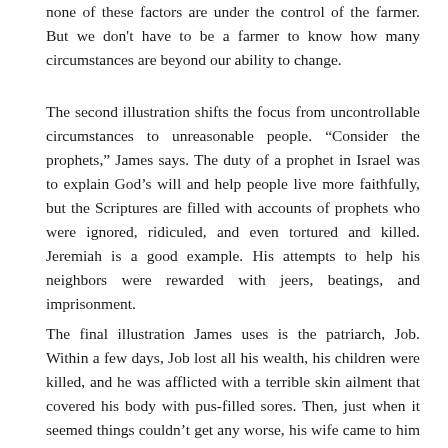none of these factors are under the control of the farmer. But we don't have to be a farmer to know how many circumstances are beyond our ability to change.
The second illustration shifts the focus from uncontrollable circumstances to unreasonable people. “Consider the prophets,” James says. The duty of a prophet in Israel was to explain God’s will and help people live more faithfully, but the Scriptures are filled with accounts of prophets who were ignored, ridiculed, and even tortured and killed. Jeremiah is a good example. His attempts to help his neighbors were rewarded with jeers, beatings, and imprisonment.
The final illustration James uses is the patriarch, Job. Within a few days, Job lost all his wealth, his children were killed, and he was afflicted with a terrible skin ailment that covered his body with pus-filled sores. Then, just when it seemed things couldn’t get any worse, his wife came to him and basically said, “Job, honey, you are a total mess. Why don’t you just curse God and die?” Job was also forsaken by those who...